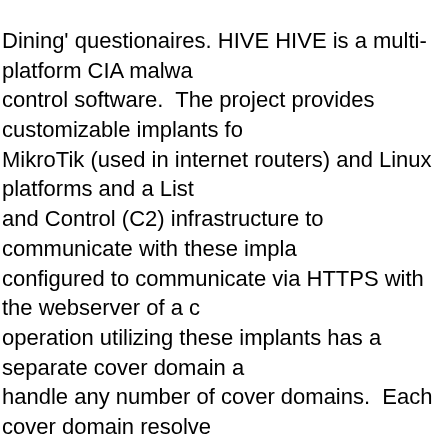Dining' questionaires. HIVE HIVE is a multi-platform CIA malware control software. The project provides customizable implants for MikroTik (used in internet routers) and Linux platforms and a Listen and Control (C2) infrastructure to communicate with these implants configured to communicate via HTTPS with the webserver of a cover operation utilizing these implants has a separate cover domain and handle any number of cover domains. Each cover domain resolves located at a commercial VPS (Virtual Private Server) provider. The forwards all incoming traffic via a VPN to a 'Blot' server that handles requests from clients. It is setup for optional SSL client authentication valid client certificate (only implants can do that), the connection 'Honeycomb' toolserver that communicates with the implant; if a (which is the case if someone tries to open the cover domain website) traffic is forwarded to a cover server that delivers an unsuspicious Honeycomb toolserver receives exfiltrated information from the implant also task the implant to execute jobs on the target computer, so C2 (command and control) server for the implant. Similar functionality (Windows) is provided by the RickBobby project. See the classified guides for HIVE. * * * FREQUENTLY ASKED QUESTIONS Why published as soon as its verification and analysis were ready. In RickBobby